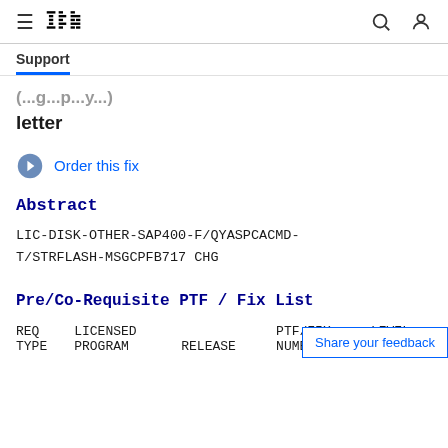IBM Support
(…g…p…y…) letter
Order this fix
Abstract
LIC-DISK-OTHER-SAP400-F/QYASPCACMD-T/STRFLASH-MSGCPFB717 CHG
Pre/Co-Requisite PTF / Fix List
| REQ TYPE | LICENSED PROGRAM | RELEASE | PTF/FIX NUMBER | LEVEL |
| --- | --- | --- | --- | --- |